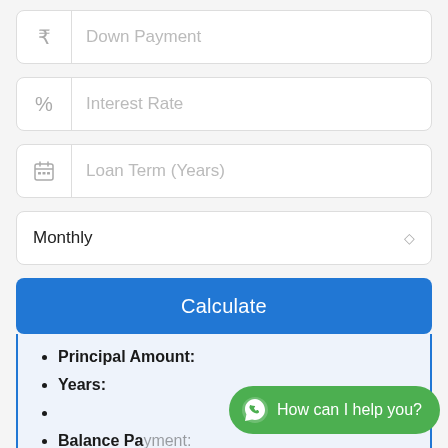[Figure (screenshot): Input field with Indian Rupee symbol icon and placeholder text 'Down Payment']
[Figure (screenshot): Input field with percent symbol icon and placeholder text 'Interest Rate']
[Figure (screenshot): Input field with calendar icon and placeholder text 'Loan Term (Years)']
[Figure (screenshot): Dropdown select field showing 'Monthly' with up-down arrow]
[Figure (screenshot): Blue 'Calculate' button]
Principal Amount:
Years:
Balance Pa[yment] (partially visible)
Total With D[own Payment] (partially visible)
[Figure (screenshot): WhatsApp chat button overlay with text 'How can I help you?']